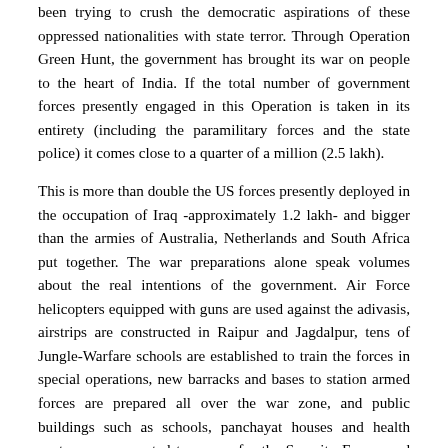been trying to crush the democratic aspirations of these oppressed nationalities with state terror. Through Operation Green Hunt, the government has brought its war on people to the heart of India. If the total number of government forces presently engaged in this Operation is taken in its entirety (including the paramilitary forces and the state police) it comes close to a quarter of a million (2.5 lakh).
This is more than double the US forces presently deployed in the occupation of Iraq -approximately 1.2 lakh- and bigger than the armies of Australia, Netherlands and South Africa put together. The war preparations alone speak volumes about the real intentions of the government. Air Force helicopters equipped with guns are used against the adivasis, airstrips are constructed in Raipur and Jagdalpur, tens of Jungle-Warfare schools are established to train the forces in special operations, new barracks and bases to station armed forces are prepared all over the war zone, and public buildings such as schools, panchayat houses and health centres are converted to camps for the Security Forces and torture chambers. In the name of fighting Naxalites/Maoists, new armed forces such as the CoBRA, Jharkhand Jaguar, C-60, etc are raised with public money to unleash terror on the adivasis. With a heinous intent, special emphasis is given by the government to recruit adivasi youths into government forces and state-sponsored vigilante gangs to instigate a bloody internecine war. To top it all, army commanders are deputed to